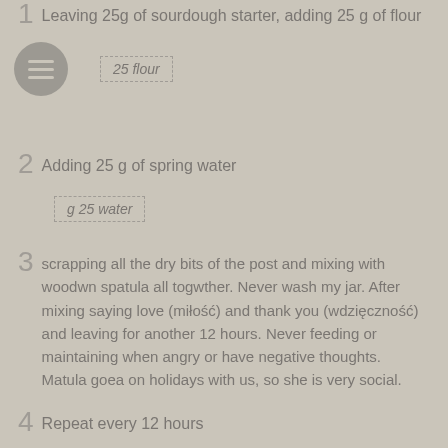1  Leaving 25g of sourdough starter, adding 25 g of flour
25 flour
2  Adding 25 g of spring water
g 25 water
3  scrapping all the dry bits of the post and mixing with woodwn spatula all togwther. Never wash my jar. After mixing saying love (miłość) and thank you (wdzięczność) and leaving for another 12 hours. Never feeding or maintaining when angry or have negative thoughts. Matula goea on holidays with us, so she is very social.
g 75 starter
4  Repeat every 12 hours